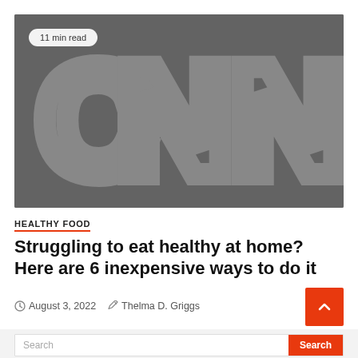[Figure (logo): CNN logo on dark gray background with '11 min read' badge in top left]
HEALTHY FOOD
Struggling to eat healthy at home? Here are 6 inexpensive ways to do it
August 3, 2022   Thelma D. Griggs
Search